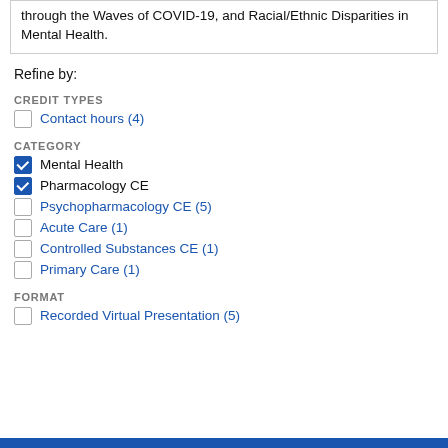through the Waves of COVID-19, and Racial/Ethnic Disparities in Mental Health.
Refine by:
CREDIT TYPES
Contact hours (4)
CATEGORY
Mental Health
Pharmacology CE
Psychopharmacology CE (5)
Acute Care (1)
Controlled Substances CE (1)
Primary Care (1)
FORMAT
Recorded Virtual Presentation (5)